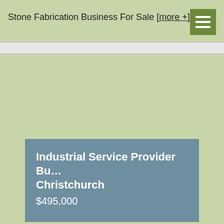Stone Fabrication Business For Sale [more +]
[Figure (other): Green menu/hamburger icon button in top right corner]
[Figure (other): Advertisement area (blank green)]
Industrial Service Provider Bu…
Christchurch
$495,000
Niche Offering - Long Standing History, Potential to be